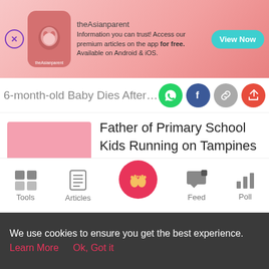[Figure (screenshot): theAsianparent app advertisement banner with pink gradient background, logo, baby image, text and View Now button]
6-month-old Baby Dies After Family F
[Figure (infographic): Social share icons: WhatsApp (green), Facebook (blue), link (grey), share (red)]
Father of Primary School Kids Running on Tampines Walkway Roof Files Police Repor...
Delivery Rider Works 16 Hours a Day for
[Figure (infographic): Bottom navigation bar with Tools, Articles, Home (pink circle with baby feet), Feed, Poll icons]
We use cookies to ensure you get the best experience.
Learn More    Ok, Got it